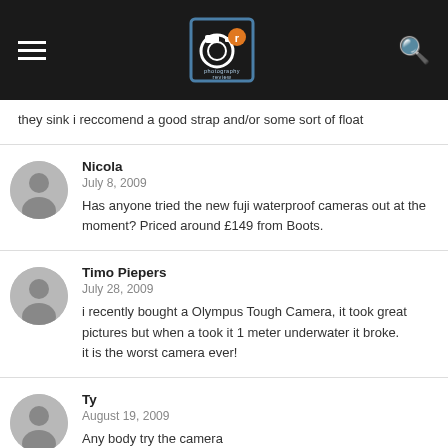Photography Review – navigation header with hamburger menu, logo, and search icon
they sink i reccomend a good strap and/or some sort of float
Nicola
July 8, 2009
Has anyone tried the new fuji waterproof cameras out at the moment? Priced around £149 from Boots.
Timo Piepers
July 28, 2009
i recently bought a Olympus Tough Camera, it took great pictures but when a took it 1 meter underwater it broke.
it is the worst camera ever!
Ty
August 19, 2009
Any body try the camera